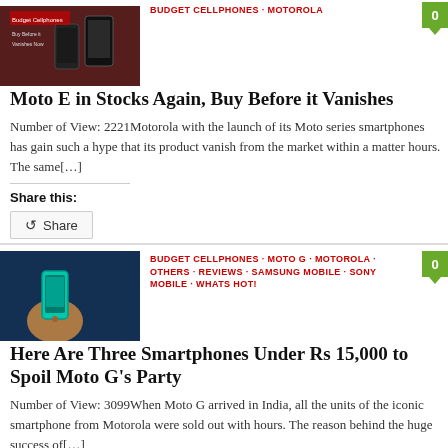BUDGET CELLPHONES · MOTOROLA
Moto E in Stocks Again, Buy Before it Vanishes
Number of View: 2221Motorola with the launch of its Moto series smartphones has gain such a hype that its product vanish from the market within a matter hours. The same[…]
Share this:
BUDGET CELLPHONES · MOTO G · MOTOROLA · OTHERS · REVIEWS · SAMSUNG MOBILE · SONY MOBILE · WHATS HOT!
Here Are Three Smartphones Under Rs 15,000 to Spoil Moto G's Party
Number of View: 3099When Moto G arrived in India, all the units of the iconic smartphone from Motorola were sold out with hours. The reason behind the huge success of[…]
Share this: